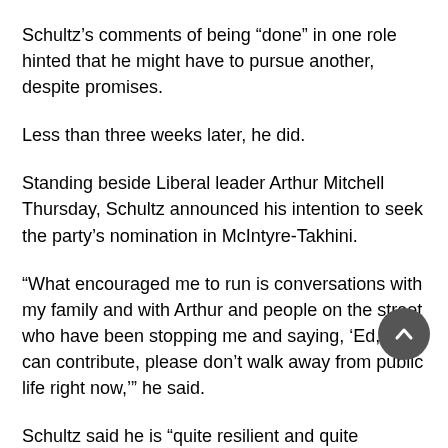Schultz’s comments of being “done” in one role hinted that he might have to pursue another, despite promises.
Less than three weeks later, he did.
Standing beside Liberal leader Arthur Mitchell Thursday, Schultz announced his intention to seek the party’s nomination in McIntyre-Takhini.
“What encouraged me to run is conversations with my family and with Arthur and people on the street who have been stopping me and saying, ‘Ed, you can contribute, please don’t walk away from public life right now,’” he said.
Schultz said he is “quite resilient and quite determined” in his latest quest for office.